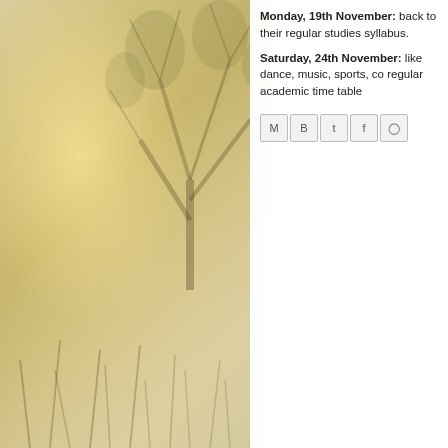[Figure (photo): Misty morning landscape with tree silhouettes and tall grass, warm golden-yellow tones]
Monday, 19th November: back to their regular studies syllabus.
Saturday, 24th November: like dance, music, sports, co regular academic time table
[Figure (other): Social share buttons: email, blog, twitter, facebook, pinterest]
The School Weekly -
(ED: Editor, CV: Ch ED: Which was your CV: 2012-13 ED: Did you participa CV: Yes, I have par (continue...)